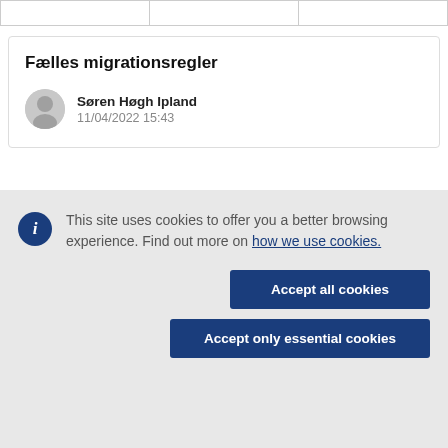|  |  |  |
| --- | --- | --- |
|  |  |  |
Fælles migrationsregler
Søren Høgh Ipland
11/04/2022 15:43
This site uses cookies to offer you a better browsing experience. Find out more on how we use cookies.
Accept all cookies
Accept only essential cookies